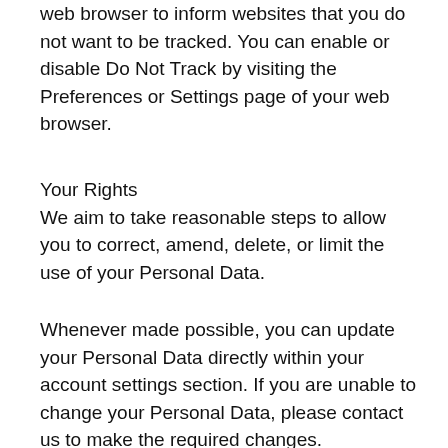web browser to inform websites that you do not want to be tracked. You can enable or disable Do Not Track by visiting the Preferences or Settings page of your web browser.
Your Rights
We aim to take reasonable steps to allow you to correct, amend, delete, or limit the use of your Personal Data.
Whenever made possible, you can update your Personal Data directly within your account settings section. If you are unable to change your Personal Data, please contact us to make the required changes.